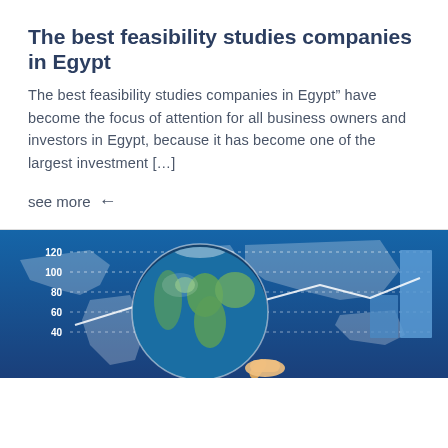The best feasibility studies companies in Egypt
The best feasibility studies companies in Egypt" have become the focus of attention for all business owners and investors in Egypt, because it has become one of the largest investment [...]
see more ←
[Figure (infographic): Decorative infographic image showing a globe/magnifying glass over a world map with a bar chart and line chart overlay on a blue background. Y-axis labels visible: 120, 100, 80, 60, 40.]